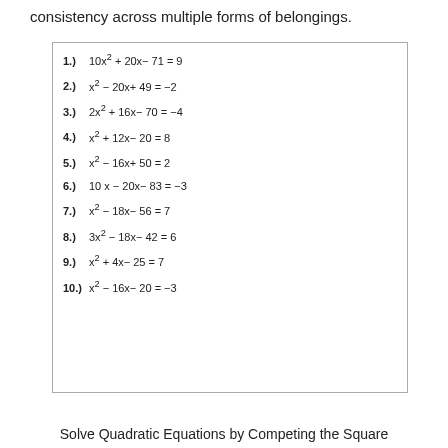consistency across multiple forms of belongings.
Solve Quadratic Equations by Competing the Square